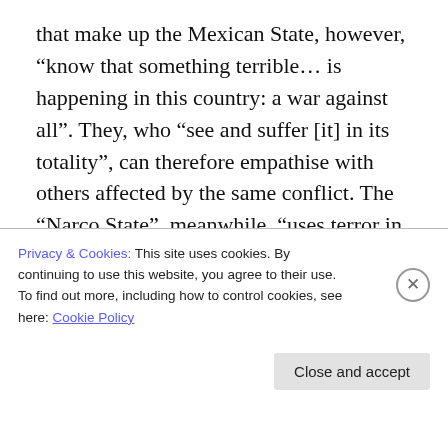that make up the Mexican State, however, “know that something terrible… is happening in this country: a war against all”. They, who “see and suffer [it] in its totality”, can therefore empathise with others affected by the same conflict. The “Narco State”, meanwhile, “uses terror in order to manufacture [the] pain and fear” which it uses to govern and “try to disappear our conscience”. Throughout the country, the statement insisted, “repression against the people, the extraction of natural resources, and the destruction of territories… are operated by the Narco State, without scruples”, but people’s “pain and rage has
Privacy & Cookies: This site uses cookies. By continuing to use this website, you agree to their use.
To find out more, including how to control cookies, see here: Cookie Policy
Close and accept